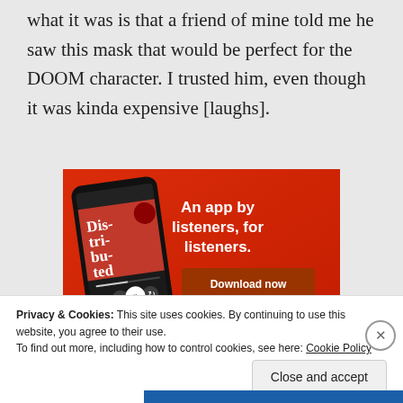what it was is that a friend of mine told me he saw this mask that would be perfect for the DOOM character. I trusted him, even though it was kinda expensive [laughs].
[Figure (illustration): Advertisement banner with red background showing a podcast app on a smartphone. Text reads 'An app by listeners, for listeners.' with a 'Download now' button. App name shown as 'Dis-tri-bu-ted'.]
Privacy & Cookies: This site uses cookies. By continuing to use this website, you agree to their use.
To find out more, including how to control cookies, see here: Cookie Policy
Close and accept